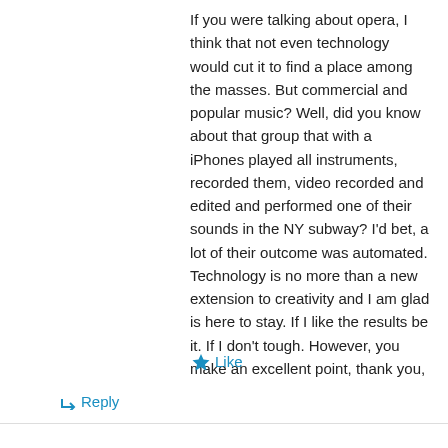If you were talking about opera, I think that not even technology would cut it to find a place among the masses. But commercial and popular music? Well, did you know about that group that with a iPhones played all instruments, recorded them, video recorded and edited and performed one of their sounds in the NY subway? I'd bet, a lot of their outcome was automated. Technology is no more than a new extension to creativity and I am glad is here to stay. If I like the results be it. If I don't tough. However, you make an excellent point, thank you,
★ Like
↳ Reply